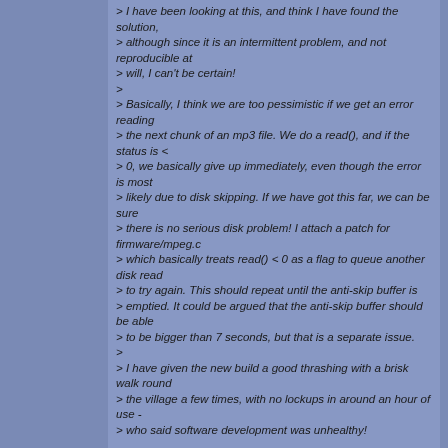> I have been looking at this, and think I have found the solution, > although since it is an intermittent problem, and not reproducible at > will, I can't be certain! > > Basically, I think we are too pessimistic if we get an error reading > the next chunk of an mp3 file. We do a read(), and if the status is < > 0, we basically give up immediately, even though the error is most > likely due to disk skipping. If we have got this far, we can be sure > there is no serious disk problem! I attach a patch for firmware/mpeg.c > which basically treats read() < 0 as a flag to queue another disk read > to try again. This should repeat until the anti-skip buffer is > emptied. It could be argued that the anti-skip buffer should be able > to be bigger than 7 seconds, but that is a separate issue. > > I have given the new build a good thrashing with a brisk walk round > the village a few times, with no lockups in around an hour of use - > who said software development was unhealthy!